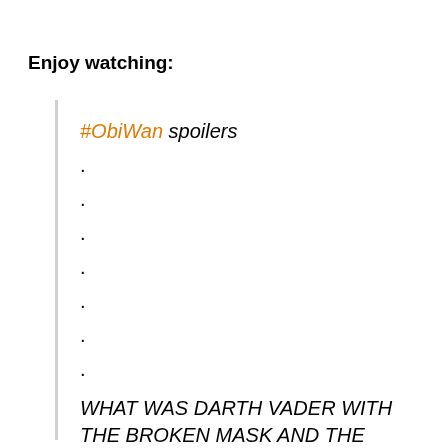Enjoy watching:
#ObiWan spoilers
·
·
·
·
·
·
·
WHAT WAS DARTH VADER WITH THE BROKEN MASK AND THE VOICE INTERMEDIATE WITH ANAKIN'S